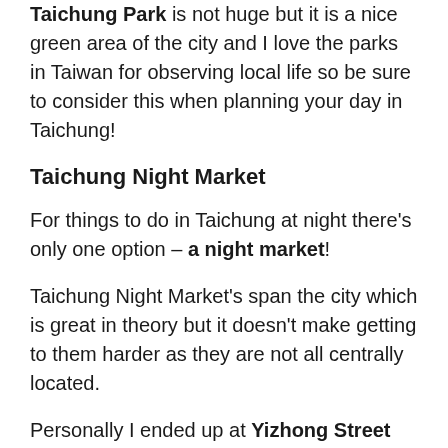Taichung Park is not huge but it is a nice green area of the city and I love the parks in Taiwan for observing local life so be sure to consider this when planning your day in Taichung!
Taichung Night Market
For things to do in Taichung at night there's only one option – a night market!
Taichung Night Market's span the city which is great in theory but it doesn't make getting to them harder as they are not all centrally located.
Personally I ended up at Yizhong Street Night Market twice because it centrally located close to Taichung Park and close to my accommodation in